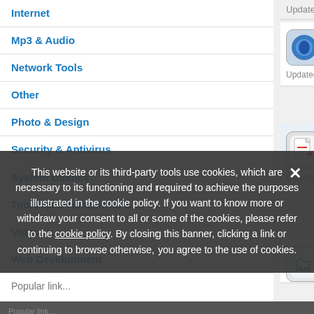Internet
Mp3 & Audio
Network Tools
Other
Photo & Design
Security & Antivirus
System Utilities
Tools for iPhone, iPod & ...
Video
Web Development
Popular link...
Updated: March 5th 2019
Path Finder 6.5.3 Free to try
Path Finder is a file browser.
Updated: July 9th 2014
Doxillion Free Mac Document ar...
Convert Documents, docx, doc, rtf, html,
Updated: November 26th 2021
Softtote Data Recovery Software
Softtote File Recovery for Mac is a comp
This website or its third-party tools use cookies, which are necessary to its functioning and required to achieve the purposes illustrated in the cookie policy. If you want to know more or withdraw your consent to all or some of the cookies, please refer to the cookie policy. By closing this banner, clicking a link or continuing to browse otherwise, you agree to the use of cookies.